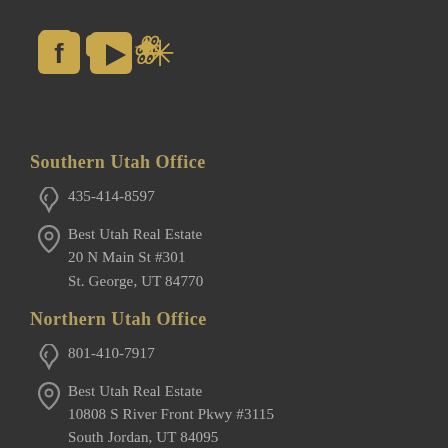[Figure (illustration): Three social media icons: Facebook, YouTube, and Yelp, rendered in gold/yellow color]
Southern Utah Office
435-414-8597
Best Utah Real Estate
20 N Main St #301
St. George, UT 84770
Northern Utah Office
801-410-7917
Best Utah Real Estate
10808 S River Front Pkwy #3115
South Jordan, UT 84095